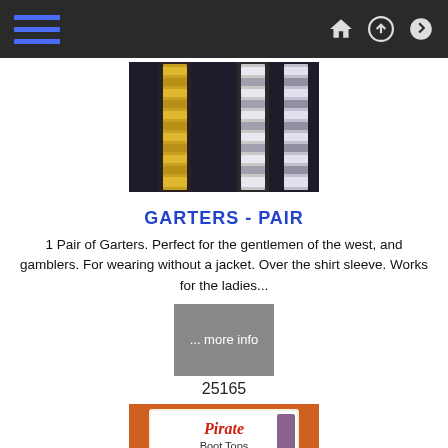navigation header with menu lines and icons
[Figure (photo): Close-up photo of garters with gold and silver sequin/rhinestone trim on dark fabric background]
GARTERS - PAIR
1 Pair of Garters. Perfect for the gentlemen of the west, and gamblers. For wearing without a jacket. Over the shirt sleeve. Works for the ladies...
[Figure (other): Grey button with text '... more info']
25165
[Figure (photo): Photo of Pirate Boot Tops product with orange background, showing black leather boot top cuffs and a product label card reading 'Pirate Boot Tops']